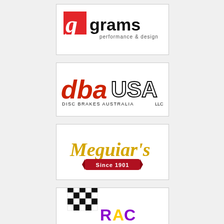[Figure (logo): Grams Performance & Design logo — red stylized 'g' icon followed by 'grams' in black sans-serif, with 'performance & design' tagline below]
[Figure (logo): DBA USA LLC logo — 'dba' in red/orange gradient letters, 'USA' in large black outline letters, 'DISC BRAKES AUSTRALIA' and 'LLC' in small text below]
[Figure (logo): Meguiar's logo — gold script 'Meguiar's' with red ribbon banner reading 'Since 1901']
[Figure (logo): Partial logo at bottom — checkered racing flag with colorful text, partially cropped]